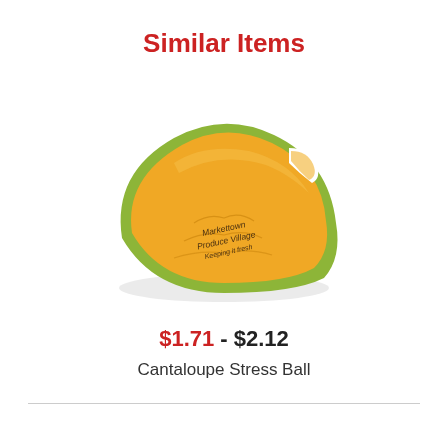Similar Items
[Figure (photo): A cantaloupe stress ball shaped like a melon slice, orange with green rind, with text 'Markettown Produce Village Keeping it fresh' imprinted on it.]
$1.71 - $2.12
Cantaloupe Stress Ball